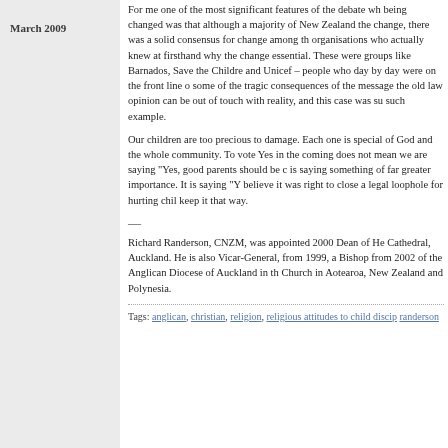March 2009
For me one of the most significant features of the debate wh... being changed was that although a majority of New Zealand... the change, there was a solid consensus for change among th... organisations who actually knew at firsthand why the change... essential. These were groups like Barnados, Save the Childre... and Unicef – people who day by day were on the front line of... some of the tragic consequences of the message the old law s... opinion can be out of touch with reality, and this case was su... such example.
Our children are too precious to damage. Each one is special... of God and the whole community. To vote Yes in the coming... does not mean we are saying "Yes, good parents should be c... is saying something of far greater importance. It is saying "Y... believe it was right to close a legal loophole for hurting chil... keep it that way.
—
Richard Randerson, CNZM, was appointed 2000 Dean of He... Cathedral, Auckland. He is also Vicar-General, from 1999, a... Bishop from 2002 of the Anglican Diocese of Auckland in th... Church in Aotearoa, New Zealand and Polynesia.
Tags: anglican, christian, religion, religious attitudes to child discip... randerson